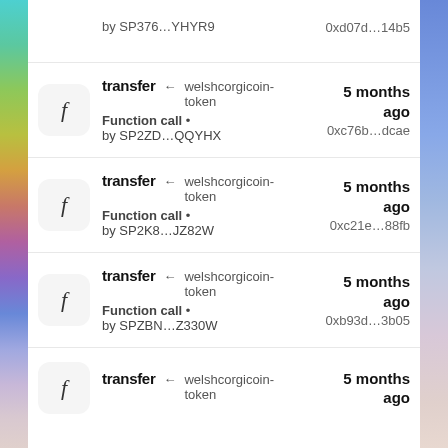transfer ← welshcorgicoin-token | Function call • by SP2ZD...QQYHX | 5 months ago | 0xc76b...dcae
transfer ← welshcorgicoin-token | Function call • by SP2K8...JZ82W | 5 months ago | 0xc21e...88fb
transfer ← welshcorgicoin-token | Function call • by SPZBN...Z330W | 5 months ago | 0xb93d...3b05
transfer ← welshcorgicoin-token | 5 months ago (partial)